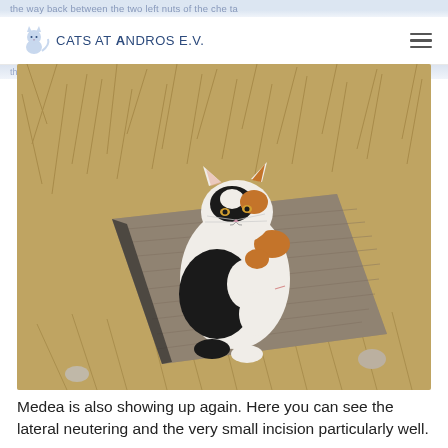CATS AT ANDROS E.V.
[Figure (photo): A calico cat sitting on a weathered wooden board surrounded by dry grass. The cat is looking upward and its side shows a small lateral neutering incision.]
Medea is also showing up again. Here you can see the lateral neutering and the very small incision particularly well.